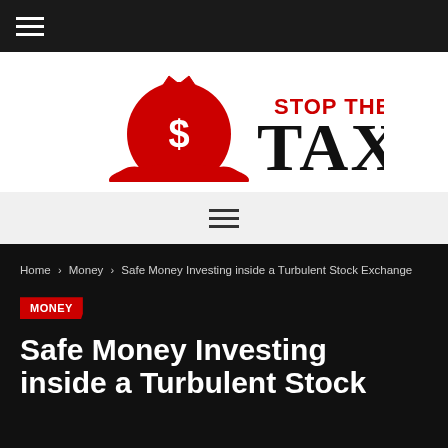≡
[Figure (logo): Stop The Margin Tax logo with red money bag icon, red text 'STOP THE MARGIN' above large black serif 'TAX']
≡ (hamburger menu icon)
Home > Money > Safe Money Investing inside a Turbulent Stock Exchange
MONEY
Safe Money Investing inside a Turbulent Stock